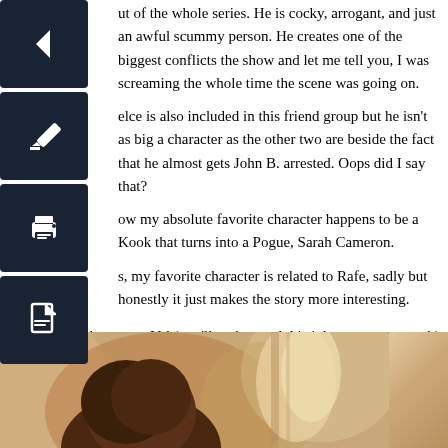[Figure (other): Vertical toolbar with 4 dark navy icon buttons: back arrow, edit/pencil, print, and PDF/document icons]
ut of the whole series. He is cocky, arrogant, and just an awful scummy person. He creates one of the biggest conflicts the show and let me tell you, I was screaming the whole time the scene was going on.
elce is also included in this friend group but he isn't as big a character as the other two are beside the fact that he almost gets John B. arrested. Oops did I say that?
ow my absolute favorite character happens to be a Kook that turns into a Pogue, Sarah Cameron.
s, my favorite character is related to Rafe, sadly but honestly it just makes the story more interesting.
Sarah is also known as Val (you'll understand this joke once you watch) becomes a major love interest of John B. Sarah helps John B find the treasure due to her dad, Ward Cameron.
Ward Cameron is the devil and that's all I'm going to say about him.
[Figure (photo): Partial photo of a person from behind, showing dark/auburn hair, in a blurred outdoor setting with warm tones]